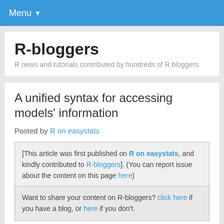Menu
R-bloggers
R news and tutorials contributed by hundreds of R bloggers
A unified syntax for accessing models' information
Posted by R on easystats
[This article was first published on R on easystats, and kindly contributed to R-bloggers]. (You can report issue about the content on this page here)
Want to share your content on R-bloggers? click here if you have a blog, or here if you don't.
[Figure (infographic): Facebook and Twitter share buttons]
The richness and variety of packages for building and fitting statistical